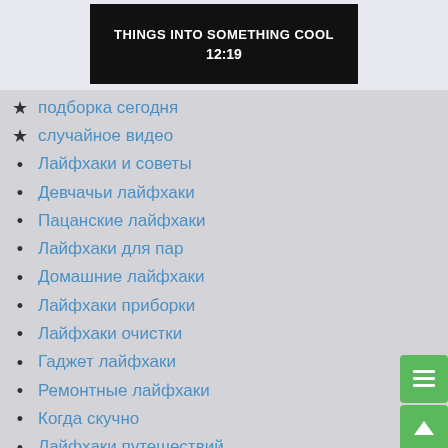[Figure (screenshot): Video thumbnail with text 'THINGS INTO SOMETHING COOL' and timestamp 12:19 on black background]
★ подборка сегодня
★ случайное видео
• Лайфхаки и советы
• Девчачьи лайфхаки
• Пацанские лайфхаки
• Лайфхаки для пар
• Домашние лайфхаки
• Лайфхаки приборки
• Лайфхаки очистки
• Гаджет лайфхаки
• Ремонтные лайфхаки
• Когда скучно
• Лайфхаки путешествий
• Летние лайфхаки
• Зимние лайфхаки
• Эксперименты и трюки
• Советы и идеи
📁 Здоровье и спорт
• Здоровье и тело
• Диета и потеря веса